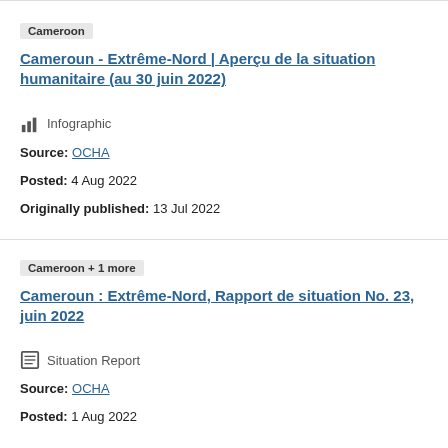Cameroun - Extrême-Nord | Aperçu de la situation humanitaire (au 30 juin 2022)
Infographic
Source: OCHA
Posted: 4 Aug 2022
Originally published: 13 Jul 2022
Cameroun : Extrême-Nord, Rapport de situation No. 23, juin 2022
Situation Report
Source: OCHA
Posted: 1 Aug 2022